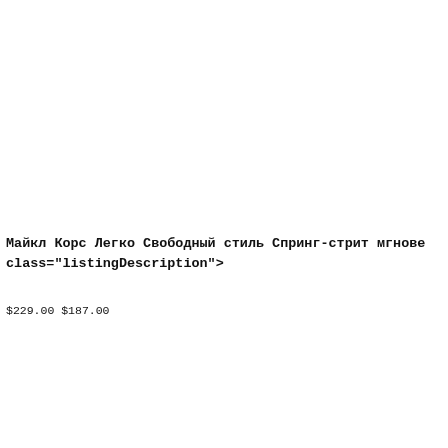<div class="centerBoxContentsProducts centeredContent back" style="width:32 href="http://www.michaelkorsbuy.cn/ru/%D0%9C%D0%B0%D0%B9%D0%BA% %D0%9A%D0%BE%D1%80%D1%81-%D0%9B%D0%B5%D0%B3%D0%BA% %D0%A1%D0%B2%D0%BE%D0%B1%D0%BE%D0%B4%D0%BD%D1%8B% %D1%81%D1%82%D0%B8%D0%BB%D1%8C- %D0%A1%D0%BF%D1%80%D0%B8%D0%BD%D0%B3%D1%81%D1%82%D 0%BC%D0%B3%D0%BD%D0%BE%D0%B2%D0%B5%D0%BD%D0%BD% 3e72-p-283.html"><div style="vertical-align: middle;height:200px"><img src="http://www.michaelkorsbuy.cn/ru/images/_small//mk_02/Fashion-Match/Mic Street-Snap-8.jpg" alt="Майкл Корс Легко Свободный стиль Спринг-стрит мг Корс Легко Свободный стиль Спринг-стрит мгновенного 8 [3e72] " width="20 class="listingProductImage" id="listimg" /></div></a><br /><h3 class="itemTitle" href="http://www.michaelkorsbuy.cn/ru/%D0%9C%D0%B0%D0%B9%D0%BA% %D0%9A%D0%BE%D1%80%D1%81-%D0%9B%D0%B5%D0%B3%D0%BA% %D0%A1%D0%B2%D0%BE%D0%B1%D0%BE%D0%B4%D0%BD%D1%8B% %D1%81%D1%82%D0%B8%D0%BB%D1%8C- %D0%A1%D0%BF%D1%80%D0%B8%D0%BD%D0%B3%D1%81%D1%82%D %D0%BC%D0%B3%D0%BD%D0%BE%D0%B2%D0%B5%D0%BD%D0%BD% 3e72-p-283.html">Майкл Корс Легко Свободный стиль Спринг-стрит мгнове class="listingDescription"></div><br /><span class="normalprice">$229.00 </sp class="productSpecialPrice">$187.00</span><span class="productPriceDiscou off</span><br /><br /><a href="http://www.michaelkorsbuy.cn/ru/%D0%9C%D0 %D0%BC%D0%B0%D0%B1%D0%B2%D1%87-c-4.html?products_id=283&action=buy_n src="http://www.michaelkorsbuy.cn/ru/includes/templates/polo/buttons/english/bu title=" Buy Now " width="105" height="24" class="listingBuyNowButton" /></a><b